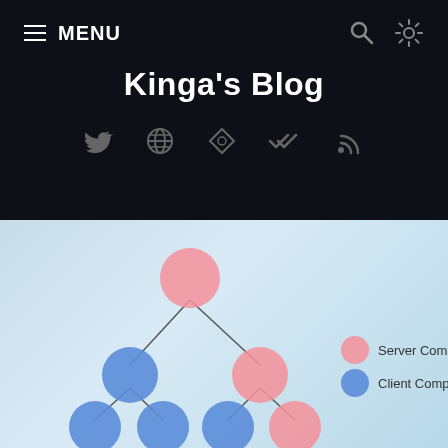MENU
Kinga's Blog
[Figure (other): Social media icons: Twitter, globe, diamond/dev, double-check, RSS feed]
[Figure (organizational-chart): Tree diagram showing Server Components (pink circles) and Client Components (blue circles). Root is a pink Server Component, branching to a blue Client Component on the left and a pink Server Component on the right. The left blue node branches to two blue nodes. The right pink node branches to one blue node and one pink node. Legend on right shows pink=Server Components, blue=Client Components.]